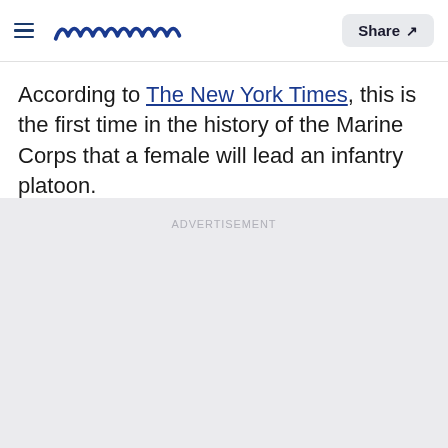Meaww — Share
According to The New York Times, this is the first time in the history of the Marine Corps that a female will lead an infantry platoon.
ADVERTISEMENT